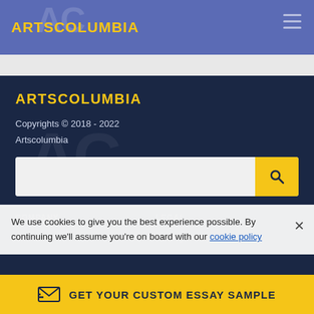ARTSCOLUMBIA
ARTSCOLUMBIA
Copyrights © 2018 - 2022
Artscolumbia
We use cookies to give you the best experience possible. By continuing we'll assume you're on board with our cookie policy
COMPANY
LEGAL
Contacts
Privacy Policy
GET YOUR CUSTOM ESSAY SAMPLE